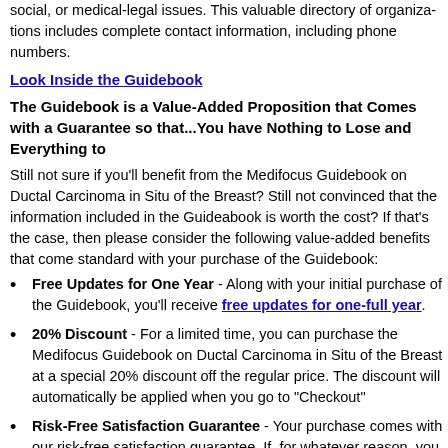social, or medical-legal issues. This valuable directory of organizations includes complete contact information, including phone numbers.
Look Inside the Guidebook
The Guidebook is a Value-Added Proposition that Comes with a Guarantee so that...You have Nothing to Lose and Everything to
Still not sure if you'll benefit from the Medifocus Guidebook on Ductal Carcinoma in Situ of the Breast? Still not convinced that the information included in the Guidebook is worth the cost? If that's the case, then please consider the following value-added benefits that come standard with your purchase of the Guidebook:
Free Updates for One Year - Along with your initial purchase of the Guidebook, you'll receive free updates for one-full year.
20% Discount - For a limited time, you can purchase the Medifocus Guidebook on Ductal Carcinoma in Situ of the Breast at a special 20% discount off the regular price. The discount will automatically be applied when you go to "Checkout"
Risk-Free Satisfaction Guarantee - Your purchase comes with our risk-free satisfaction guarantee. If, for whatever reason, you are not totally satisfied with the Medifocus Guidebook, simply contact us within 30-days of your purchase for a full refund. We are so confident that you will be satisfied with your Guidebook tha